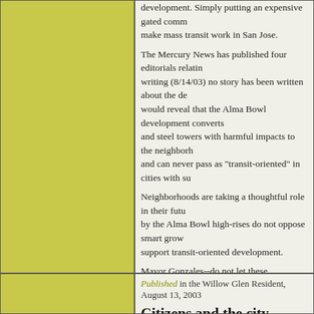development. Simply putting an expensive gated comm... make mass transit work in San Jose.
The Mercury News has published four editorials relatin... writing (8/14/03) no story has been written about the de... would reveal that the Alma Bowl development converts... and steel towers with harmful impacts to the neighborh... and can never pass as "transit-oriented" in cities with su...
Neighborhoods are taking a thoughtful role in their futu... by the Alma Bowl high-rises do not oppose smart grow... support transit-oriented development.
Mayor Gonzales--do not let these unaffordable towers h... need affordable housing, but the Alma Bowl project do... the neighborhoods.
Sincerely,
Tom Smith
San Jose
Published in the Willow Glen Resident, August 13, 2003
Citizens and the city should be
Regarding the Tamien Place Development and the Tam... request that the San Jose City Council and city planning... Plan, which specifies maximum building heights of 65...